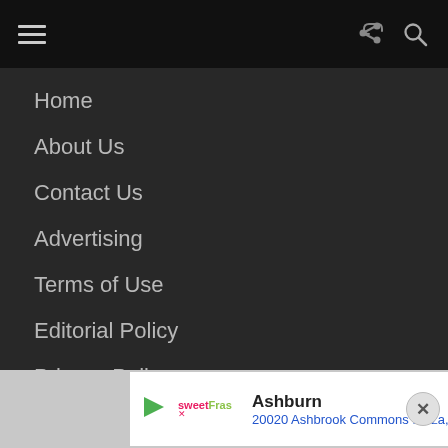[Navigation bar with hamburger menu, share icon, and search icon]
Home
About Us
Contact Us
Advertising
Terms of Use
Editorial Policy
Privacy Policy
Cookie Policy
Ashburn 20020 Ashbrook Commons Plaza, Ste .